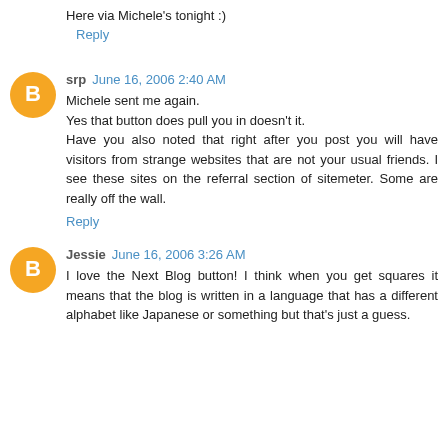Here via Michele's tonight :)
Reply
srp  June 16, 2006 2:40 AM
Michele sent me again.
Yes that button does pull you in doesn't it.
Have you also noted that right after you post you will have visitors from strange websites that are not your usual friends. I see these sites on the referral section of sitemeter. Some are really off the wall.
Reply
Jessie  June 16, 2006 3:26 AM
I love the Next Blog button! I think when you get squares it means that the blog is written in a language that has a different alphabet like Japanese or something but that's just a guess.